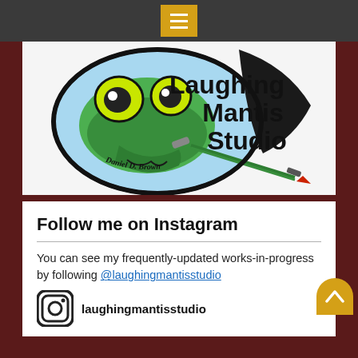Navigation menu bar
[Figure (logo): Laughing Mantis Studio logo: cartoon praying mantis face with large yellow eyes, green body, holding a pencil/pen, inside a circular blue badge. Text reads 'Laughing Mantis Studio' and 'Daniel D. Brown'.]
Follow me on Instagram
You can see my frequently-updated works-in-progress by following @laughingmantisstudio
laughingmantisstudio